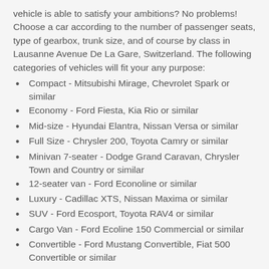vehicle is able to satisfy your ambitions? No problems! Choose a car according to the number of passenger seats, type of gearbox, trunk size, and of course by class in Lausanne Avenue De La Gare, Switzerland. The following categories of vehicles will fit your any purpose:
Compact - Mitsubishi Mirage, Chevrolet Spark or similar
Economy - Ford Fiesta, Kia Rio or similar
Mid-size - Hyundai Elantra, Nissan Versa or similar
Full Size - Chrysler 200, Toyota Camry or similar
Minivan 7-seater - Dodge Grand Caravan, Chrysler Town and Country or similar
12-seater van - Ford Econoline or similar
Luxury - Cadillac XTS, Nissan Maxima or similar
SUV - Ford Ecosport, Toyota RAV4 or similar
Cargo Van - Ford Ecoline 150 Commercial or similar
Convertible - Ford Mustang Convertible, Fiat 500 Convertible or similar
Before booking, carefully analyze what rental car you exactly need, and only then confirm your reservation. This will help to make your trip as comfortable as possible and avoid